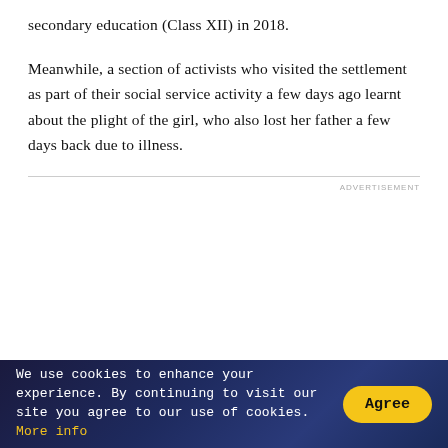secondary education (Class XII) in 2018.
Meanwhile, a section of activists who visited the settlement as part of their social service activity a few days ago learnt about the plight of the girl, who also lost her father a few days back due to illness.
ADVERTISEMENT
We use cookies to enhance your experience. By continuing to visit our site you agree to our use of cookies. More info